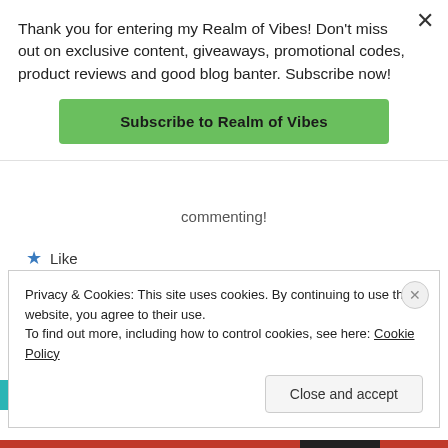Thank you for entering my Realm of Vibes! Don't miss out on exclusive content, giveaways, promotional codes, product reviews and good blog banter. Subscribe now!
Subscribe to Realm of Vibes
commenting!
Like
REPLY
Privacy & Cookies: This site uses cookies. By continuing to use this website, you agree to their use. To find out more, including how to control cookies, see here: Cookie Policy
Close and accept